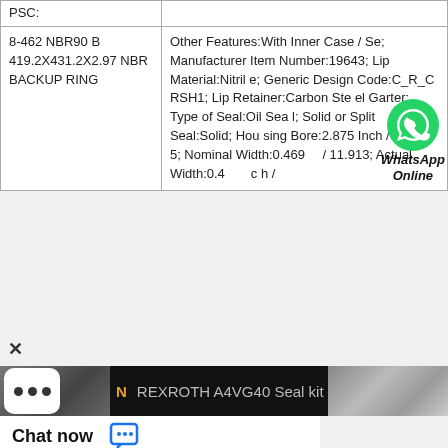| Part Number | Description |
| --- | --- |
| PSC: |  |
| 8-462 NBR90 B 419.2X431.2X2.97 NBR BACKUP RING | Other Features:With Inner Case / Se; Manufacturer Item Number:19643; Lip Material:Nitrile; Generic Design Code:C_R_CRSH1; Lip Retainer:Carbon Steel Garter; Type of Seal:Oil Seal; Solid or Split Seal:Solid; Housing Bore:2.875 Inch / 73.025; Nominal Width:0.469 / 11.913; Actual Width:0.4... Inch / |
[Figure (screenshot): WhatsApp Online chat widget overlay on the bottom portion of the page, showing a video bar with 'REXROTH A4VG40 Seal kit' title, a dots menu button, and a Chat now bar with chat icon.]